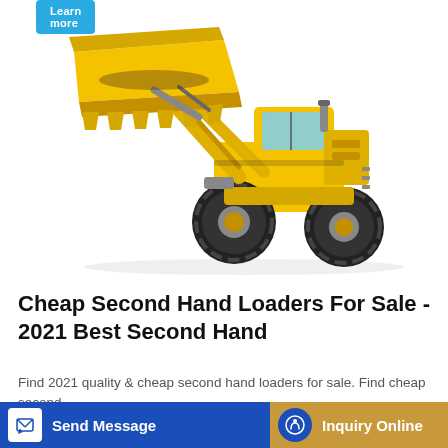[Figure (photo): Yellow front-end wheel loader (construction machine) with raised bucket, shown at an angle on white background]
Cheap Second Hand Loaders For Sale - 2021 Best Second Hand
Find 2021 quality & cheap second hand loaders for sale. Find cheap second hand loaders at discounted price from the most reputable wholesalers.